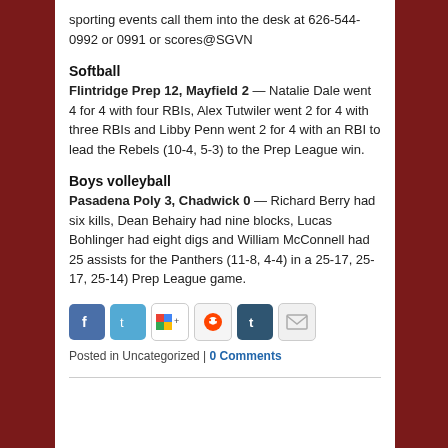sporting events call them into the desk at 626-544-0992 or 0991 or scores@SGVN
Softball
Flintridge Prep 12, Mayfield 2 — Natalie Dale went 4 for 4 with four RBIs, Alex Tutwiler went 2 for 4 with three RBIs and Libby Penn went 2 for 4 with an RBI to lead the Rebels (10-4, 5-3) to the Prep League win.
Boys volleyball
Pasadena Poly 3, Chadwick 0 — Richard Berry had six kills, Dean Behairy had nine blocks, Lucas Bohlinger had eight digs and William McConnell had 25 assists for the Panthers (11-8, 4-4) in a 25-17, 25-17, 25-14) Prep League game.
Posted in Uncategorized | 0 Comments